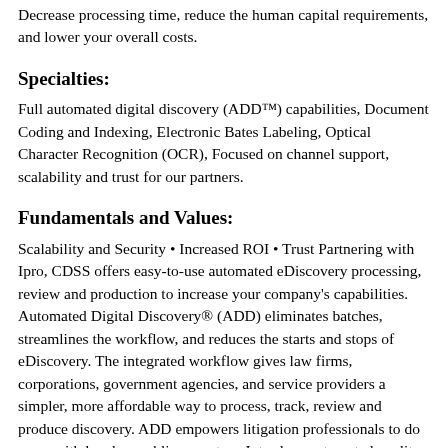Decrease processing time, reduce the human capital requirements, and lower your overall costs.
Specialties:
Full automated digital discovery (ADD™) capabilities, Document Coding and Indexing, Electronic Bates Labeling, Optical Character Recognition (OCR), Focused on channel support, scalability and trust for our partners.
Fundamentals and Values:
Scalability and Security • Increased ROI • Trust Partnering with Ipro, CDSS offers easy-to-use automated eDiscovery processing, review and production to increase your company's capabilities. Automated Digital Discovery® (ADD) eliminates batches, streamlines the workflow, and reduces the starts and stops of eDiscovery. The integrated workflow gives law firms, corporations, government agencies, and service providers a simpler, more affordable way to process, track, review and produce discovery. ADD empowers litigation professionals to do more with less by enabling you to: • Introduce automated quality controls • Reduce hardware & personnel demands • Minimize human errors